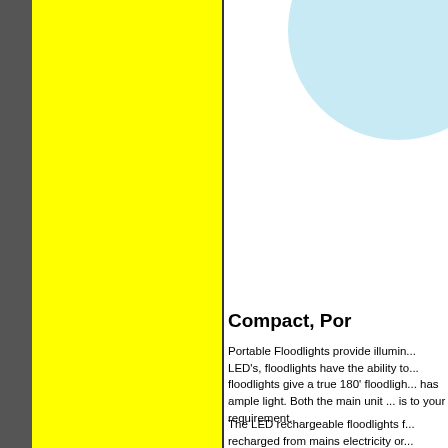[Figure (photo): Left side: dark greyscale photo strip of equipment/floodlight setup, partially visible. Central large yellow panel. Top right area shows a light blue circular shape on white background.]
Compact, Por
Portable Floodlights provide illumin... LED's, floodlights have the ability to... floodlights give a true 180' floodligh... has ample light. Both the main unit ... is to your requirement.
The LED rechargeable floodlights f... recharged from mains electricity or...